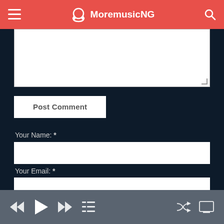MoremusicNG
[Figure (screenshot): Comment form textarea (empty white input area)]
Post Comment
Your Name: *
[Figure (screenshot): Name text input field (empty white input)]
Your Email: *
[Figure (screenshot): Email text input field (empty white input)]
Save my name, email, and website in this browser for the next time I comment.
Music player controls bar